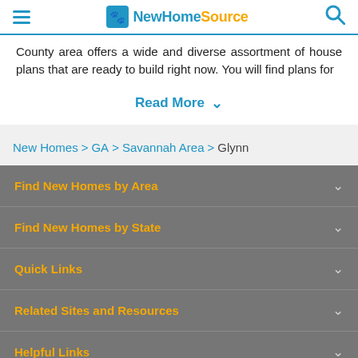NewHomeSource
County area offers a wide and diverse assortment of house plans that are ready to build right now. You will find plans for
Read More
New Homes > GA > Savannah Area > Glynn
Find New Homes by Area
Find New Homes by State
Quick Links
Related Sites and Resources
Helpful Links